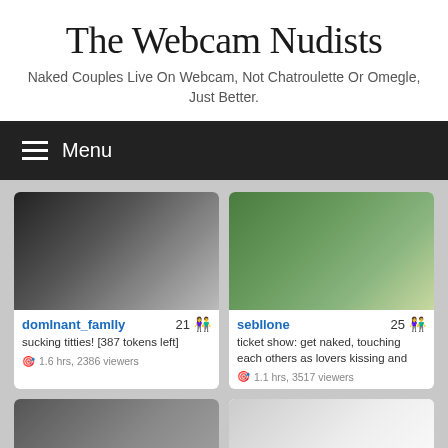The Webcam Nudists
Naked Couples Live On Webcam, Not Chatroulette Or Omegle, Just Better.
≡ Menu
[Figure (screenshot): Webcam thumbnail for dominant_family]
domInant_famIly  21
sucking titties! [387 tokens left]
1.6 hrs, 2386 viewers
[Figure (screenshot): Webcam thumbnail for sebIlone showing person outdoors]
sebIlone  25
ticket show: get naked, touching each others as lovers kissing and
1.1 hrs, 3517 viewers
[Figure (screenshot): Webcam thumbnail bottom left]
[Figure (screenshot): Webcam thumbnail bottom right]